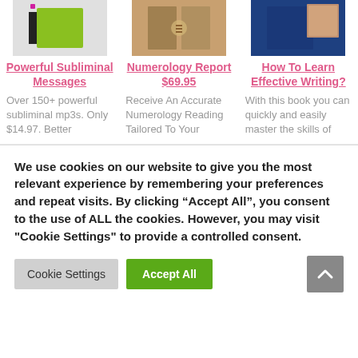[Figure (photo): Product image for Powerful Subliminal Messages - green notebook with black device]
[Figure (photo): Product image for Numerology Report - old open book]
[Figure (photo): Product image for How To Learn Effective Writing - blue book cover with person]
Powerful Subliminal Messages
Numerology Report $69.95
How To Learn Effective Writing?
Over 150+ powerful subliminal mp3s. Only $14.97. Better
Receive An Accurate Numerology Reading Tailored To Your
With this book you can quickly and easily master the skills of
We use cookies on our website to give you the most relevant experience by remembering your preferences and repeat visits. By clicking "Accept All", you consent to the use of ALL the cookies. However, you may visit "Cookie Settings" to provide a controlled consent.
Cookie Settings
Accept All